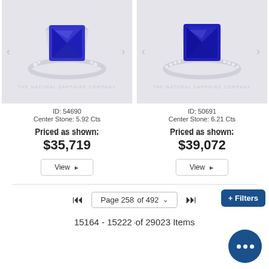[Figure (photo): Blue sapphire ring with white gold and diamond accents, ID 54690, shown on product listing]
ID: 54690
Center Stone: 5.92 Cts
Priced as shown:
$35,719
[Figure (photo): Blue sapphire ring with white gold and pavé diamond band, ID 50691, shown on product listing]
ID: 50691
Center Stone: 6.21 Cts
Priced as shown:
$39,072
Page 258 of 492
15164 - 15222 of 29023 Items